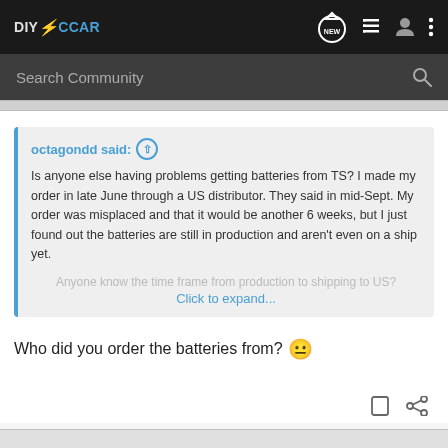DIYElectricCar — navigation bar with logo and icons
Search Community
octagondd said: ↑

Is anyone else having problems getting batteries from TS? I made my order in late June through a US distributor. They said in mid-Sept. My order was misplaced and that it would be another 6 weeks, but I just found out the batteries are still in production and aren't even on a ship yet.

Anyone know the time frame from production to shipping to US?
Click to expand...
Who did you order the batteries from? 😐